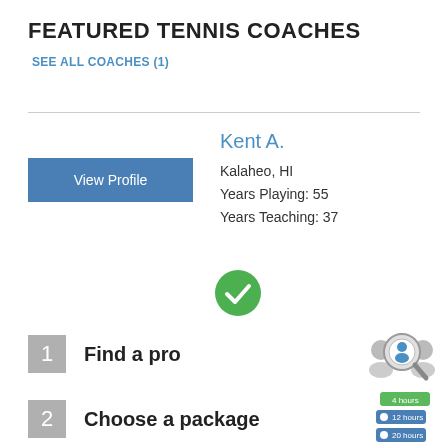FEATURED TENNIS COACHES
SEE ALL COACHES (1)
Kent A.
Kalaheo, HI
Years Playing: 55
Years Teaching: 37
[Figure (illustration): Green checkmark circle icon]
1  Find a pro
[Figure (illustration): Magnifying glass with person search icon and silhouettes]
2  Choose a package
[Figure (illustration): Package options list showing 4 hours, 12 hours, 20 hours]